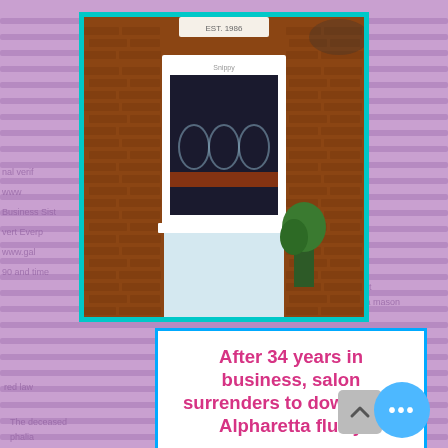[Figure (photo): Photo of a brick building storefront with a large white-framed window with teal border framing, a salon sign visible, and reflection of arched windows in the glass]
After 34 years in business, salon surrenders to downtown Alpharetta flurry
Alpharetta-Roswell Herald
Jan. 14, 2021
CLICK IMAGE FOR STORY